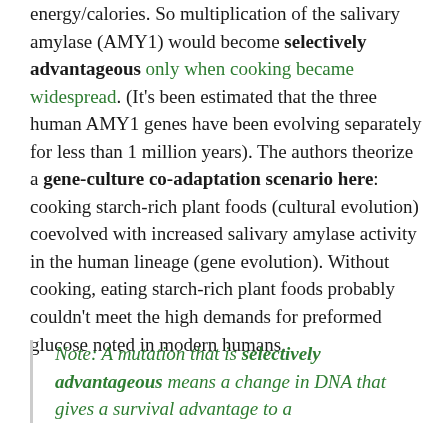energy/calories. So multiplication of the salivary amylase (AMY1) would become selectively advantageous only when cooking became widespread. (It's been estimated that the three human AMY1 genes have been evolving separately for less than 1 million years). The authors theorize a gene-culture co-adaptation scenario here: cooking starch-rich plant foods (cultural evolution) coevolved with increased salivary amylase activity in the human lineage (gene evolution). Without cooking, eating starch-rich plant foods probably couldn't meet the high demands for preformed glucose noted in modern humans.
Note: A mutation that is selectively advantageous means a change in DNA that gives a survival advantage to a